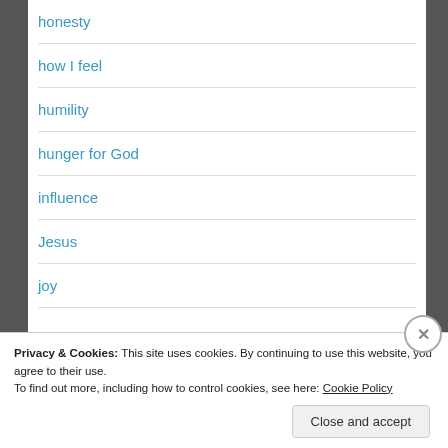honesty
how I feel
humility
hunger for God
influence
Jesus
joy
Privacy & Cookies: This site uses cookies. By continuing to use this website, you agree to their use.
To find out more, including how to control cookies, see here: Cookie Policy
Close and accept